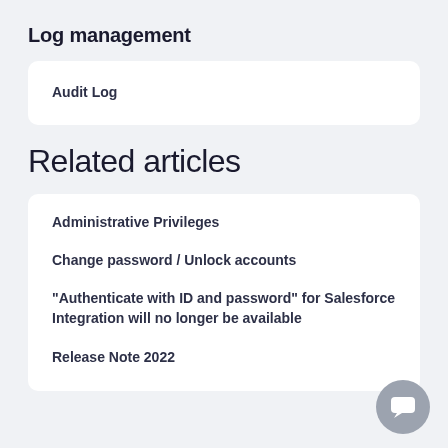Log management
Audit Log
Related articles
Administrative Privileges
Change password / Unlock accounts
"Authenticate with ID and password" for Salesforce Integration will no longer be available
Release Note 2022